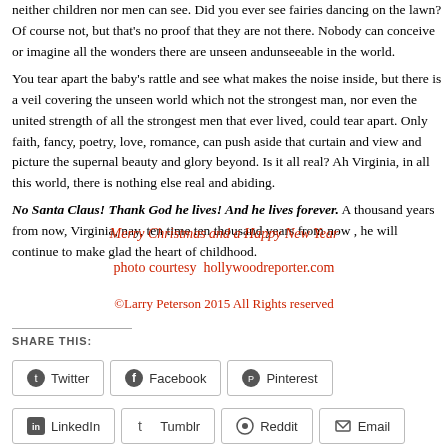neither children nor men can see. Did you ever see fairies dancing on the lawn? Of course not, but that's no proof that they are not there. Nobody can conceive or imagine all the wonders there are unseen and unseeable in the world.
You tear apart the baby's rattle and see what makes the noise inside, but there is a veil covering the unseen world which not the strongest man, nor even the united strength of all the strongest men that ever lived, could tear apart. Only faith, fancy, poetry, love, romance, can push aside that curtain and view and picture the supernal beauty and glory beyond. Is it all real? Ah Virginia, in all this world, there is nothing else real and abiding.
No Santa Claus! Thank God he lives! And he lives forever. A thousand years from now, Virginia, nay, ten time ten thousand years from now, he will continue to make glad the heart of childhood.
Merry Christmas and a Happy New Year
photo courtesy hollywoodreporter.com
©Larry Peterson 2015 All Rights reserved
SHARE THIS:
Twitter
Facebook
Pinterest
LinkedIn
Tumblr
Reddit
Email